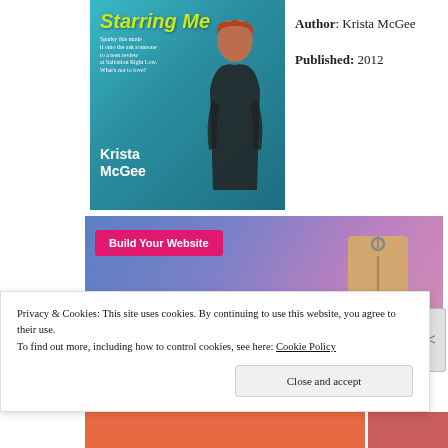[Figure (illustration): Book cover for 'Starring Me' by Krista McGee — teal/blue background with a red-haired woman in black leather jacket, yellow-green italic title text, author name at bottom in white.]
Author: Krista McGee
Published: 2012
[Figure (screenshot): Advertisement banner with gradient blue-purple background showing a price tag icon and a pink 'Build Your Website' button.]
Privacy & Cookies: This site uses cookies. By continuing to use this website, you agree to their use.
To find out more, including how to control cookies, see here: Cookie Policy
Close and accept